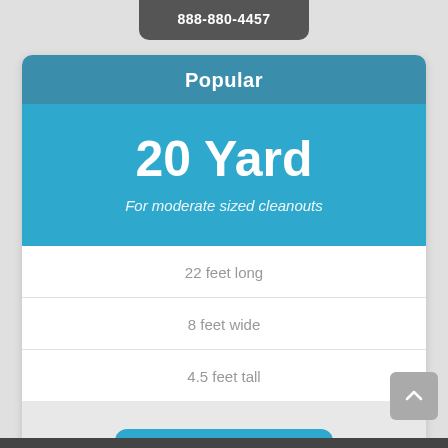888-880-4457
Popular
20 Yard
For moderate sized cleanouts
22 feet long
8 feet wide
4.5 feet tall
888-880-4457